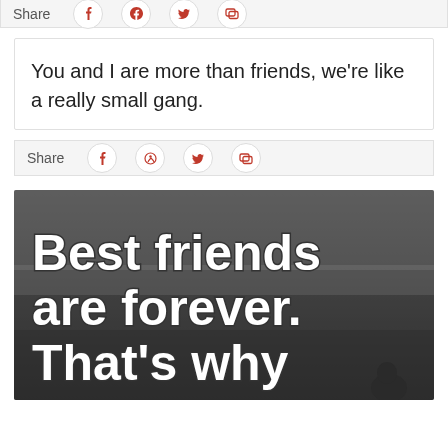Share
You and I are more than friends, we're like a really small gang.
Share
[Figure (photo): Black and white photo with text overlay reading 'Best friends are forever. That's why they're...' with a child's silhouette visible]